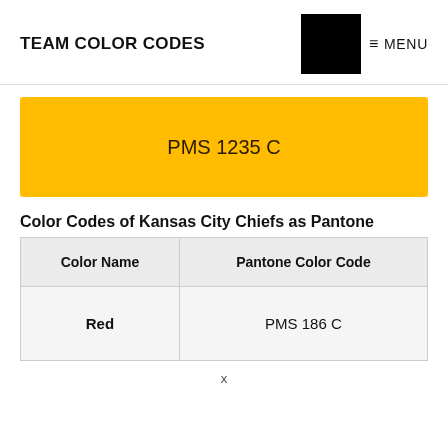TEAM COLOR CODES — MENU
[Figure (other): Yellow/gold color swatch rectangle labeled PMS 1235 C]
Color Codes of Kansas City Chiefs as Pantone
| Color Name | Pantone Color Code |
| --- | --- |
| Red | PMS 186 C |